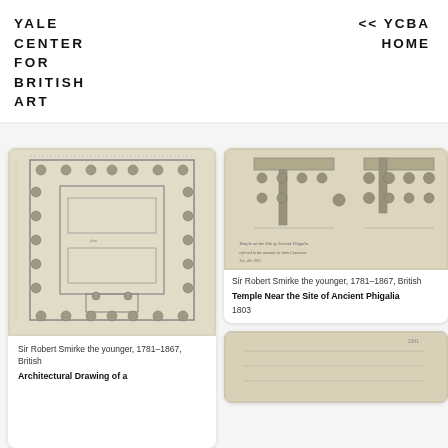YALE CENTER FOR BRITISH ART
<< YCBA HOME
[Figure (engineering-diagram): Architectural floor plan drawing showing a rectangular temple layout with columns indicated by circles arranged around the perimeter and interior, rendered in pencil on aged paper]
Sir Robert Smirke the younger, 1781–1867, British
Architectural Drawing of a
[Figure (engineering-diagram): Detailed architectural drawing with measurements and annotations in pencil, showing temple elevation or section details with handwritten notes]
Sir Robert Smirke the younger, 1781–1867, British
Temple Near the Site of Ancient Phigalia
1803
[Figure (photo): Partial view of an architectural drawing on aged paper, bottom right card, partially visible]